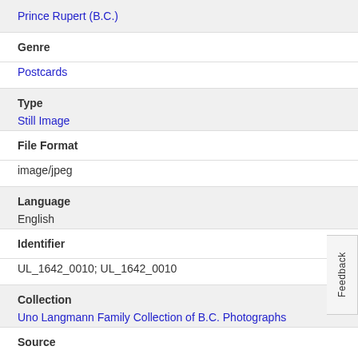Prince Rupert (B.C.)
Genre
Postcards
Type
Still Image
File Format
image/jpeg
Language
English
Identifier
UL_1642_0010; UL_1642_0010
Collection
Uno Langmann Family Collection of B.C. Photographs
Source